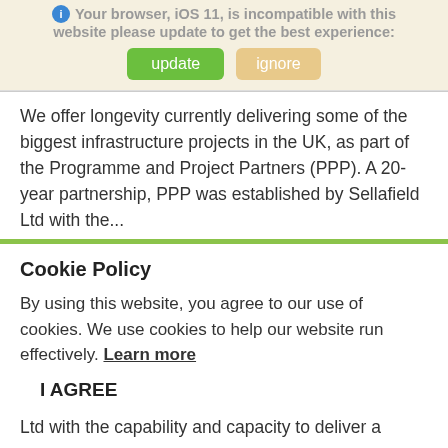Your browser, iOS 11, is incompatible with this website please update to get the best experience:
update   ignore
We offer longevity currently delivering some of the biggest infrastructure projects in the UK, as part of the Programme and Project Partners (PPP). A 20-year partnership, PPP was established by Sellafield Ltd with the...
Cookie Policy
By using this website, you agree to our use of cookies. We use cookies to help our website run effectively. Learn more
I AGREE
Ltd with the capability and capacity to deliver a